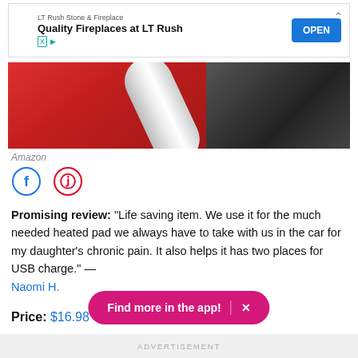[Figure (screenshot): Advertisement banner for LT Rush Stone & Fireplace with 'Quality Fireplaces at LT Rush' text and blue OPEN button]
[Figure (photo): Product photo showing a red keyboard, white cable/cord, dark device, and grey fabric on a dark surface (Amazon product image)]
Amazon
[Figure (infographic): Social sharing icons: Facebook (blue circle with f) and Pinterest (red circle with P)]
Promising review: "Life saving item. We use it for the much needed heated pad we always have to take with us in the car for my daughter's chronic pain. It also helps it has two places for USB charge." — Naomi H.
Price: $16.98
Find more in the app!  ×
ADVERTISEMENT